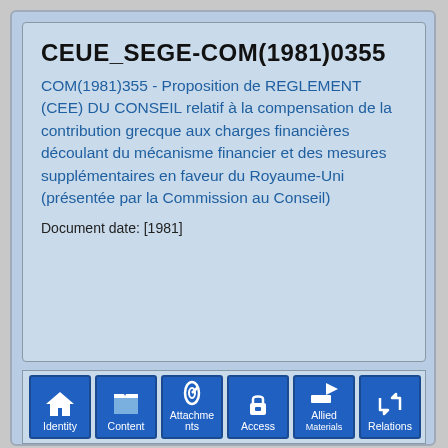CEUE_SEGE-COM(1981)0355
COM(1981)355 - Proposition de REGLEMENT (CEE) DU CONSEIL relatif à la compensation de la contribution grecque aux charges financières découlant du mécanisme financier et des mesures supplémentaires en faveur du Royaume-Uni (présentée par la Commission au Conseil)
Document date: [1981]
[Figure (infographic): Navigation bar with 6 blue icon buttons: Identity (house icon), Content (folder icon), Attachments (paperclip icon), Access (lock icon), Allied Materials (arrow icon), Relations (recycle arrows icon)]
Identity Statement